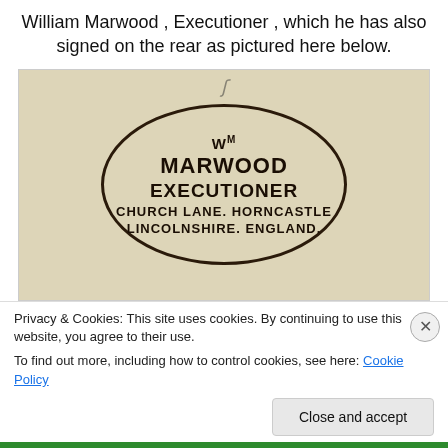William Marwood , Executioner , which he has also signed on the rear as pictured here below.
[Figure (photo): Photograph of an oval rubber stamp reading: W M MARWOOD EXECUTIONER CHURCH LANE. HORNCASTLE LINCOLNSHIRE. ENGLAND.]
Privacy & Cookies: This site uses cookies. By continuing to use this website, you agree to their use. To find out more, including how to control cookies, see here: Cookie Policy